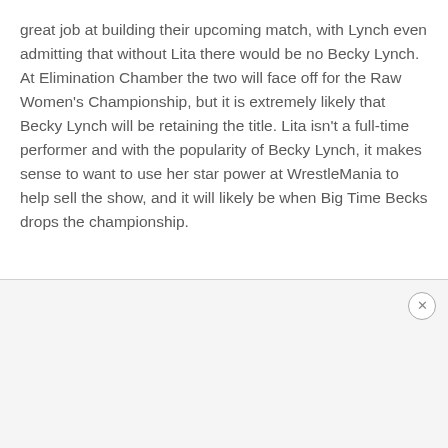great job at building their upcoming match, with Lynch even admitting that without Lita there would be no Becky Lynch. At Elimination Chamber the two will face off for the Raw Women's Championship, but it is extremely likely that Becky Lynch will be retaining the title. Lita isn't a full-time performer and with the popularity of Becky Lynch, it makes sense to want to use her star power at WrestleMania to help sell the show, and it will likely be when Big Time Becks drops the championship.
[Figure (other): Advertisement area with close button (X) in top-right corner]